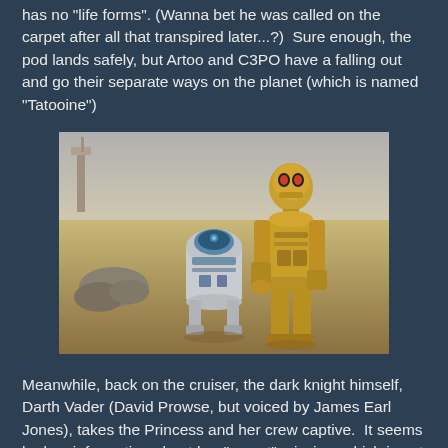has no "life forms". (Wanna bet he was called on the carpet after all that transpired later...?)  Sure enough, the pod lands safely, but Artoo and C3PO have a falling out and go their separate ways on the planet (which is named "Tatooine")
[Figure (photo): Photo of R2-D2 and C-3PO standing together on the desert planet Tatooine from Star Wars. C-3PO, the golden humanoid robot, stands to the right and appears to be touching R2-D2's dome head. They are in a sandy desert landscape.]
Meanwhile, back on the cruiser, the dark knight himself, Darth Vader (David Prowse, but voiced by James Earl Jones), takes the Princess and her crew captive.  It seems he has information about her "secret" mission, which is not the same mission as has been officially declared, that it is a mission of diplomacy.  (Naughty, naughty, Princess.  You shouldn't lie to a guy who has the entire weapon cache of